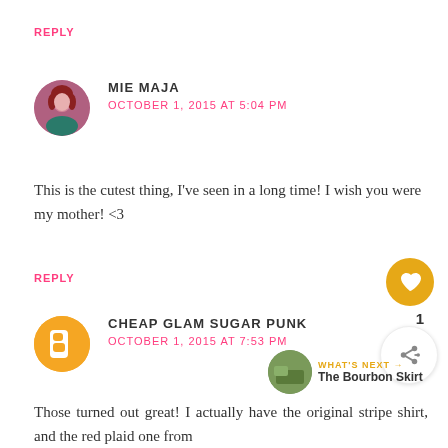REPLY
MIE MAJA
OCTOBER 1, 2015 AT 5:04 PM
This is the cutest thing, I've seen in a long time! I wish you were my mother! <3
REPLY
CHEAP GLAM SUGAR PUNK
OCTOBER 1, 2015 AT 7:53 PM
Those turned out great! I actually have the original stripe shirt, and the red plaid one from